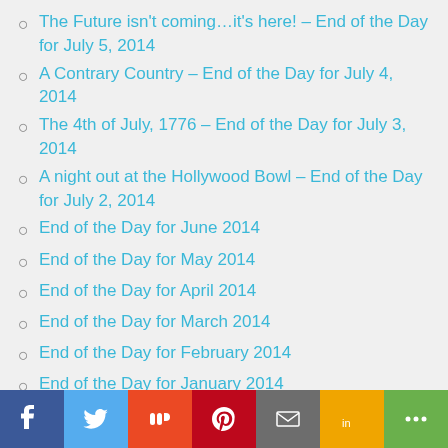The Future isn't coming...it's here! – End of the Day for July 5, 2014
A Contrary Country – End of the Day for July 4, 2014
The 4th of July, 1776 – End of the Day for July 3, 2014
A night out at the Hollywood Bowl – End of the Day for July 2, 2014
End of the Day for June 2014
End of the Day for May 2014
End of the Day for April 2014
End of the Day for March 2014
End of the Day for February 2014
End of the Day for January 2014